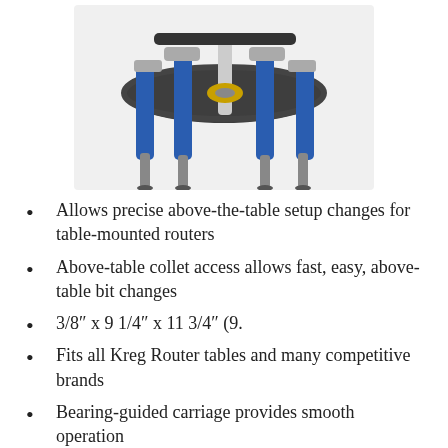[Figure (photo): Product photo of a Kreg router lift device with blue and grey cylindrical components and metal legs, viewed from above at an angle, on white background]
Allows precise above-the-table setup changes for table-mounted routers
Above-table collet access allows fast, easy, above-table bit changes
3/8″ x 9 1/4″ x 11 3/4″ (9.
Fits all Kreg Router tables and many competitive brands
Bearing-guided carriage provides smooth operation
Shop On Amazon